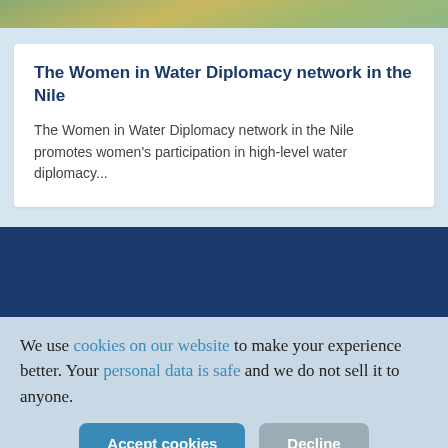[Figure (photo): Top image strip showing people outdoors]
The Women in Water Diplomacy network in the Nile
The Women in Water Diplomacy network in the Nile promotes women's participation in high-level water diplomacy...
We use cookies on our website to make your experience better. Your personal data is safe and we do not sell it to anyone.